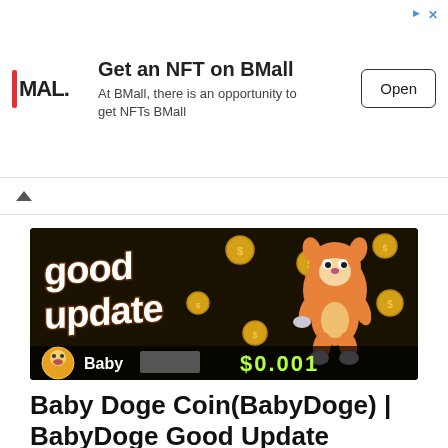[Figure (infographic): Advertisement banner for BMall NFT platform. Shows BMall logo on left, text 'Get an NFT on BMall' with subtitle 'At BMall, there is an opportunity to get NFTs BMall', and an 'Open' button on the right.]
[Figure (photo): Baby Doge Coin promotional image on dark background showing '(good update)' text in stylized font, a 3D cartoon baby doge character, gold coins scattered around, Baby Doge logo circle at bottom left, 'Baby' text, and '$0.00...' price display in green neon text.]
Baby Doge Coin(BabyDoge) | BabyDoge Good Update
August 20, 2022
Baby Doge Coin(BabyDoge) | BabyDoge Good Update